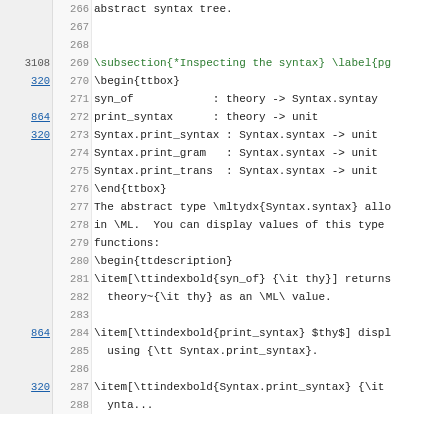Code listing view showing lines 266-287 of a LaTeX/ML source document with line numbers, reference numbers, and code content including abstract syntax tree definitions and function signatures.